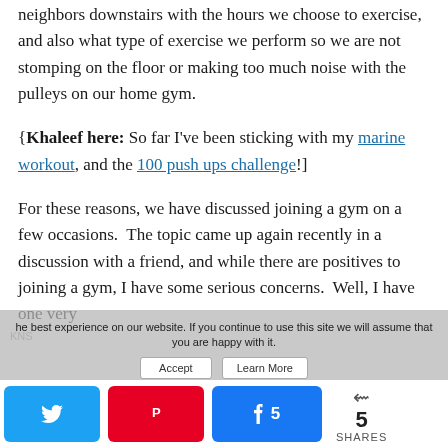neighbors downstairs with the hours we choose to exercise, and also what type of exercise we perform so we are not stomping on the floor or making too much noise with the pulleys on our home gym.
{Khaleef here: So far I've been sticking with my marine workout, and the 100 push ups challenge!]
For these reasons, we have discussed joining a gym on a few occasions.  The topic came up again recently in a discussion with a friend, and while there are positives to joining a gym, I have some serious concerns.  Well, I have one very